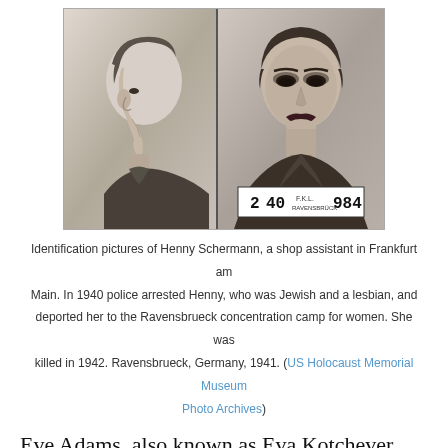[Figure (photo): Police identification mugshot photos of Henny Schermann — left profile view and front-facing view with prisoner number plate reading '2 40 F.K.L. RAVENSBRÜCK 984']
Identification pictures of Henny Schermann, a shop assistant in Frankfurt am Main. In 1940 police arrested Henny, who was Jewish and a lesbian, and deported her to the Ravensbrueck concentration camp for women. She was killed in 1942. Ravensbrueck, Germany, 1941. (US Holocaust Memorial Museum Photo Archives)
Eve Adams, also known as Eva Kotchever, was a Polish Jewish immigrant to New York City, where